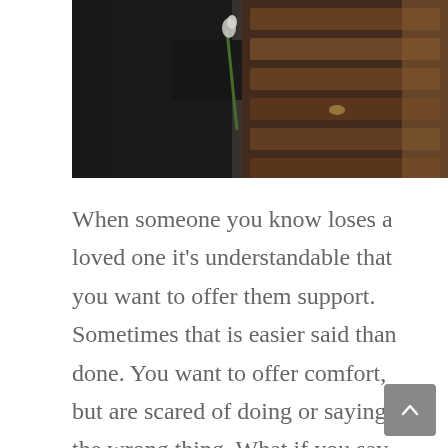[Figure (photo): A person dressed in black holding a white rose, placing it on a dark wooden coffin at a funeral.]
When someone you know loses a loved one it's understandable that you want to offer them support. Sometimes that is easier said than done. You want to offer comfort, but are scared of doing or saying the wrong thing. What if you say the wrong thing in a condolence note, or break form proper funeral flower etiquette? While it's important to keep in mind that your thoughtful gesture is what your friend or loved one will remember most, here are some easy to follow guidelines for proper funeral flower etiquette.